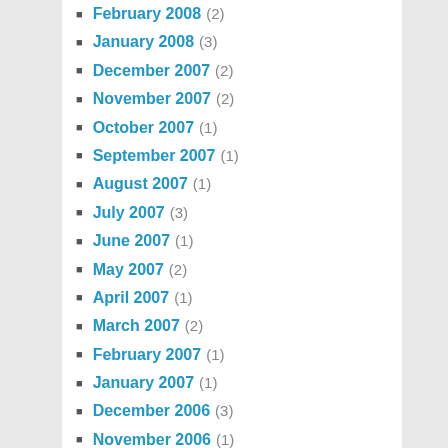February 2008 (2)
January 2008 (3)
December 2007 (2)
November 2007 (2)
October 2007 (1)
September 2007 (1)
August 2007 (1)
July 2007 (3)
June 2007 (1)
May 2007 (2)
April 2007 (1)
March 2007 (2)
February 2007 (1)
January 2007 (1)
December 2006 (3)
November 2006 (1)
October 2006 (3)
September 2006 (1)
August 2006 (3)
July 2006 (3)
June 2006 (2)
May 2006 (2)